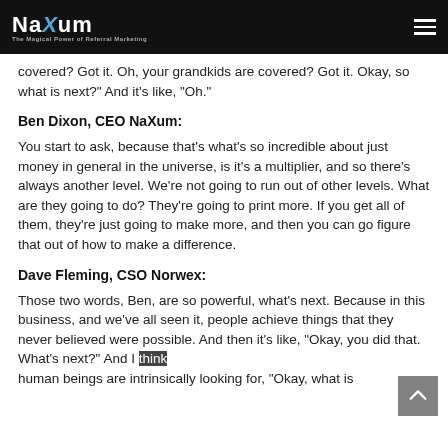NaXum — The Magical Power of Referral Marketing
covered? Got it. Oh, your grandkids are covered? Got it. Okay, so what is next?” And it’s like, “Oh.”
Ben Dixon, CEO NaXum:
You start to ask, because that’s what’s so incredible about just money in general in the universe, is it’s a multiplier, and so there’s always another level. We’re not going to run out of other levels. What are they going to do? They’re going to print more. If you get all of them, they’re just going to make more, and then you can go figure that out of how to make a difference.
Dave Fleming, CSO Norwex:
Those two words, Ben, are so powerful, what’s next. Because in this business, and we’ve all seen it, people achieve things that they never believed were possible. And then it’s like, “Okay, you did that. What’s next?” And I think human beings are intrinsically looking for, “Okay, what is